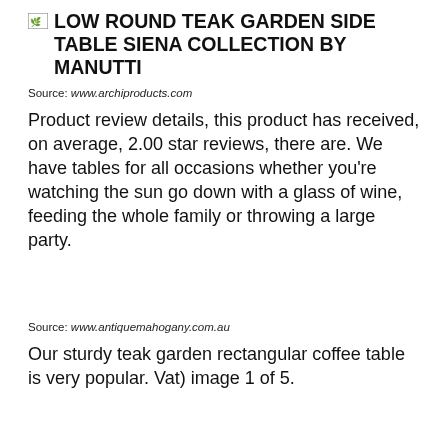LOW ROUND TEAK GARDEN SIDE TABLE SIENA COLLECTION BY MANUTTI
Source: www.archiproducts.com
Product review details, this product has received, on average, 2.00 star reviews, there are. We have tables for all occasions whether you're watching the sun go down with a glass of wine, feeding the whole family or throwing a large party.
Source: www.antiquemahogany.com.au
Our sturdy teak garden rectangular coffee table is very popular. Vat) image 1 of 5.